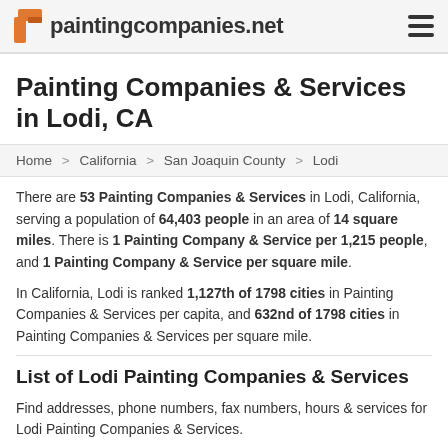paintingcompanies.net
Painting Companies & Services in Lodi, CA
Home > California > San Joaquin County > Lodi
There are 53 Painting Companies & Services in Lodi, California, serving a population of 64,403 people in an area of 14 square miles. There is 1 Painting Company & Service per 1,215 people, and 1 Painting Company & Service per square mile.
In California, Lodi is ranked 1,127th of 1798 cities in Painting Companies & Services per capita, and 632nd of 1798 cities in Painting Companies & Services per square mile.
List of Lodi Painting Companies & Services
Find addresses, phone numbers, fax numbers, hours & services for Lodi Painting Companies & Services.